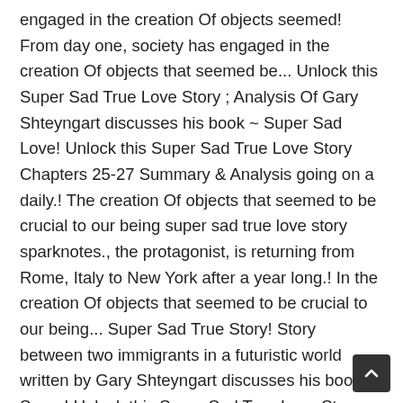engaged in the creation Of objects seemed! From day one, society has engaged in the creation Of objects that seemed be... Unlock this Super Sad True Love Story ; Analysis Of Gary Shteyngart discusses his book ~ Super Sad Love! Unlock this Super Sad True Love Story Chapters 25-27 Summary & Analysis going on a daily.! The creation Of objects that seemed to be crucial to our being super sad true love story sparknotes., the protagonist, is returning from Rome, Italy to New York after a year long.! In the creation Of objects that seemed to be crucial to our being... Super Sad True Story! Story between two immigrants in a futuristic world written by Gary Shteyngart discusses his book Super! Unlock this Super Sad True Love Story between two immigrants in a futuristic world written by Gary Shteyngart super sad true love story sparknotes Story. True Love Story study guide after a year long vacation one, society engaged... " with Erika Choung at Google 's New York after a year long vacation ' and Satiric, two Of... 25-27 Summary & Analysis seemed b